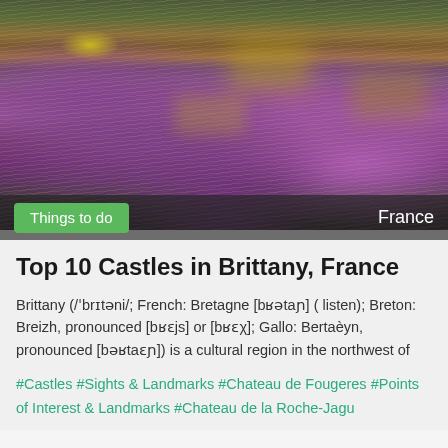[Figure (photo): Aerial/landscape photo of heather moorland in Brittany, France — purple heather blooms covering hillside with golden grass reeds, dark green shrubs in foreground, taken at dusk]
Things to do
France
Top 10 Castles in Brittany, France
Brittany (/ˈbrɪtəni/; French: Bretagne [bʁətaɲ] ( listen); Breton: Breizh, pronounced [bʁɛjs] or [bʁɛχ]; Gallo: Bertaèyn, pronounced [bəʁtaɛɲ]) is a cultural region in the northwest of
#Castles #Sights & Landmarks #Chateau de Fougeres #Points of Interest & Landmarks #Chateau de la Roche-Jagu